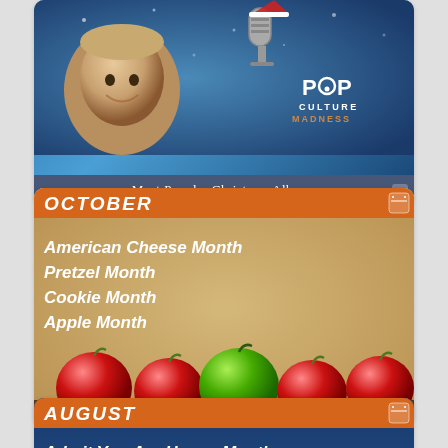[Figure (illustration): Card showing a vintage-style person near a microphone with snowy blue background and Pop Culture Madness logo]
Most Popular Christmas Albums
[Figure (illustration): October card with orange header bar, text listing American Cheese Month, Pretzel Month, Cookie Month, Apple Month, and a row of apples on tan background]
October in Pop Culture History
[Figure (illustration): August card with orange header bar and dark blue background showing Admit You Are Happy Month Happiness Happens Month text]
Admit You Are Happy Month
Happiness Happens Month